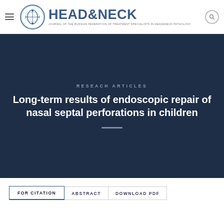HEAD&NECK — Journal of the Russian Federation of Treatment Specialists in Head&Neck Pathology
RESEACH ARTICLES
Long-term results of endoscopic repair of nasal septal perforations in children
FOR CITATION | ABSTRACT | DOWNLOAD PDF